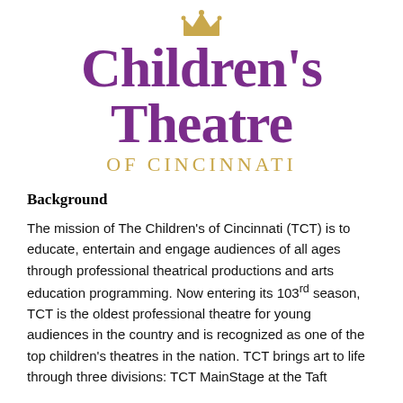[Figure (logo): Children's Theatre of Cincinnati logo with purple crown icon, large purple serif text 'Children's Theatre' and gold uppercase 'OF CINCINNATI' below]
Background
The mission of The Children's of Cincinnati (TCT) is to educate, entertain and engage audiences of all ages through professional theatrical productions and arts education programming. Now entering its 103rd season, TCT is the oldest professional theatre for young audiences in the country and is recognized as one of the top children's theatres in the nation. TCT brings art to life through three divisions: TCT MainStage at the Taft